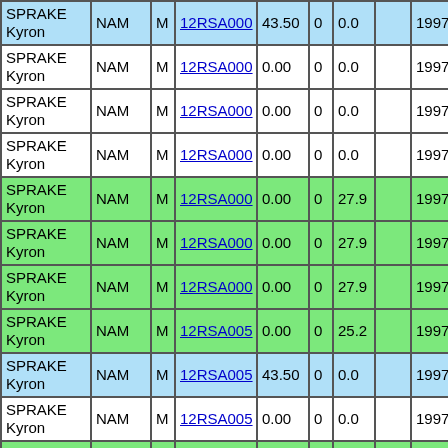| Name | Type | Sex | Code | Value1 | Val2 | Val3 |  | Year |
| --- | --- | --- | --- | --- | --- | --- | --- | --- |
| SPRAKE Kyron | NAM | M | 12RSA000 | 43.50 | 0 | 0.0 |  | 1997 |
| SPRAKE Kyron | NAM | M | 12RSA000 | 0.00 | 0 | 0.0 |  | 1997 |
| SPRAKE Kyron | NAM | M | 12RSA000 | 0.00 | 0 | 0.0 |  | 1997 |
| SPRAKE Kyron | NAM | M | 12RSA000 | 0.00 | 0 | 0.0 |  | 1997 |
| SPRAKE Kyron | NAM | M | 12RSA000 | 0.00 | 0 | 27.9 |  | 1997 |
| SPRAKE Kyron | NAM | M | 12RSA000 | 0.00 | 0 | 27.9 |  | 1997 |
| SPRAKE Kyron | NAM | M | 12RSA000 | 0.00 | 0 | 27.9 |  | 1997 |
| SPRAKE Kyron | NAM | M | 12RSA005 | 0.00 | 0 | 25.2 |  | 1997 |
| SPRAKE Kyron | NAM | M | 12RSA005 | 43.50 | 0 | 0.0 |  | 1997 |
| SPRAKE Kyron | NAM | M | 12RSA005 | 0.00 | 0 | 0.0 |  | 1997 |
| SPRAKE Kyron | NAM | M | 12RSA005 | 0.00 | 0 | 27.9 |  | 1997 |